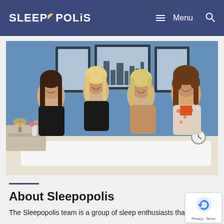SLEEPOPOLIS — Menu (navigation bar)
[Figure (photo): Four smiling women sitting on a bed in a bedroom setting with blue wallpaper, framed artwork on the wall, and a bedside table with a lamp. They appear to be the Sleepopolis team.]
About Sleepopolis
The Sleepopolis team is a group of sleep enthusiasts that will